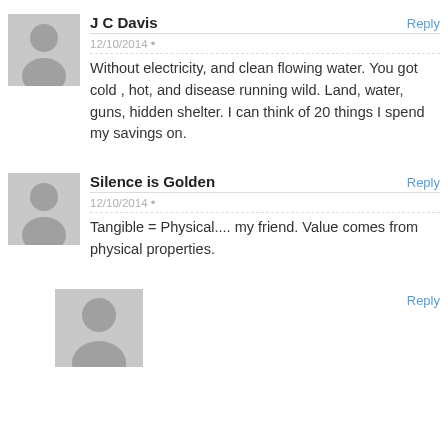J C Davis
12/10/2014
Without electricity, and clean flowing water. You got cold , hot, and disease running wild. Land, water, guns, hidden shelter. I can think of 20 things I spend my savings on.
Silence is Golden
12/10/2014
Tangible = Physical.... my friend. Value comes from physical properties.